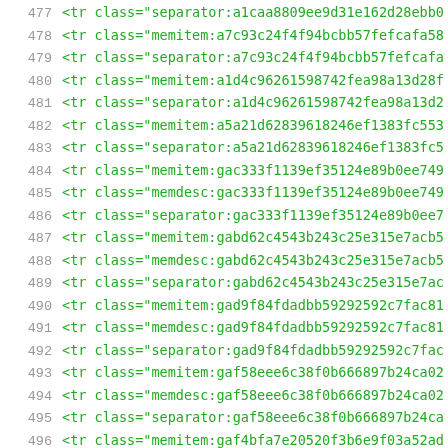477  <tr class="separator:a1caa8809ee9d31e162d28ebb0
478  <tr class="memitem:a7c93c24f4f94bcbb57fefcafa58
479  <tr class="separator:a7c93c24f4f94bcbb57fefcafa
480  <tr class="memitem:a1d4c96261598742fea98a13d28f
481  <tr class="separator:a1d4c96261598742fea98a13d2
482  <tr class="memitem:a5a21d62839618246ef1383fc553
483  <tr class="separator:a5a21d62839618246ef1383fc5
484  <tr class="memitem:gac333f1139ef35124e89b0ee749
485  <tr class="memdesc:gac333f1139ef35124e89b0ee749
486  <tr class="separator:gac333f1139ef35124e89b0ee7
487  <tr class="memitem:gabd62c4543b243c25e315e7acb5
488  <tr class="memdesc:gabd62c4543b243c25e315e7acb5
489  <tr class="separator:gabd62c4543b243c25e315e7ac
490  <tr class="memitem:gad9f84fdadbb59292592c7fac81
491  <tr class="memdesc:gad9f84fdadbb59292592c7fac81
492  <tr class="separator:gad9f84fdadbb59292592c7fac
493  <tr class="memitem:gaf58eee6c38f0b666897b24ca02
494  <tr class="memdesc:gaf58eee6c38f0b666897b24ca02
495  <tr class="separator:gaf58eee6c38f0b666897b24ca
496  <tr class="memitem:gaf4bfa7e20520f3b6e9f03a52ad
497  <tr class="memdesc:gaf4bfa7e20520f3b6e9f03a52ad
498  <tr class="separator:gaf4bfa7e20520f3b6e9f03a